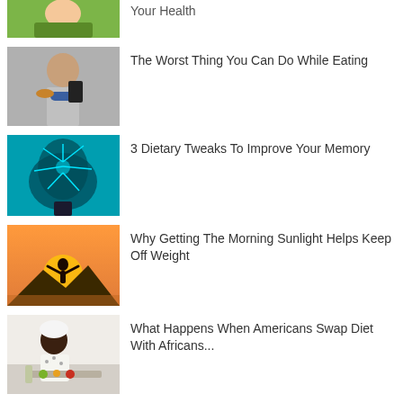Your Health
[Figure (photo): Child eating a burger outdoors on green grass background]
The Worst Thing You Can Do While Eating
[Figure (photo): Woman eating a hot dog while looking at her phone]
The Worst Thing You Can Do While Eating
[Figure (photo): Brain scan image with glowing neural network on teal background]
3 Dietary Tweaks To Improve Your Memory
[Figure (photo): Silhouette of person with arms raised against sunset sky]
Why Getting The Morning Sunlight Helps Keep Off Weight
[Figure (photo): African woman cooking or preparing food at a kitchen counter]
What Happens When Americans Swap Diet With Africans...